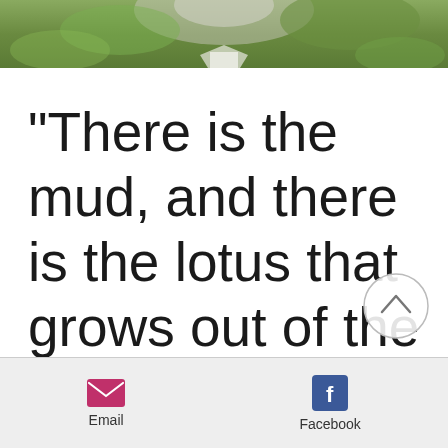[Figure (photo): Partial photo of a person in front of green foliage, cropped at top]
“There is the mud, and there is the lotus that grows out of the mud. We
[Figure (other): Circular scroll-up button with upward chevron arrow]
Email   Facebook